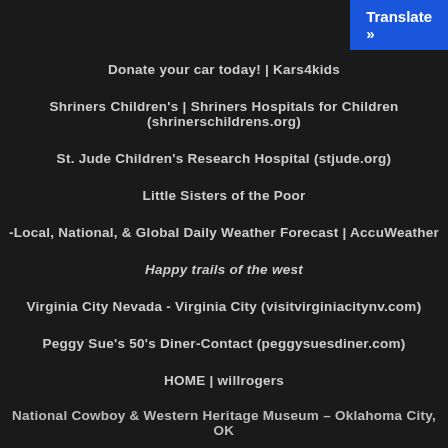Translate »
Donate your car today! | Kars4kids
Shriners Children's | Shriners Hospitals for Children (shrinerschildrens.org)
St. Jude Children's Research Hospital (stjude.org)
Little Sisters of the Poor
-Local, National, & Global Daily Weather Forecast | AccuWeather
Happy trails of the west
Virginia City Nevada - Virginia City (visitvirginiacitynv.com)
Peggy Sue's 50's Diner-Contact (peggysuesdiner.com)
HOME | willrogers
National Cowboy & Western Heritage Museum – Oklahoma City, OK